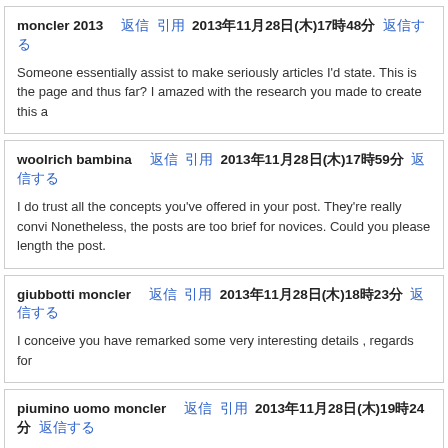moncler 2013 　返信 　引用 2013年11月28日(木)17時48分 　返信する
Someone essentially assist to make seriously articles I'd state. This is the page and thus far? I amazed with the research you made to create this a
woolrich bambina 　返信 　引用 2013年11月28日(木)17時59分 　返信する
I do trust all the concepts you've offered in your post. They're really convi Nonetheless, the posts are too brief for novices. Could you please length the post.
giubbotti moncler 　返信 　引用 2013年11月28日(木)18時23分 　返信する
I conceive you have remarked some very interesting details , regards for
piumino uomo moncler 　返信 　引用 2013年11月28日(木)19時24分 　返信する
of course like your web site but you need to check the spelling on severa spelling problems and I to find it very bothersome to inform the truth on th again.